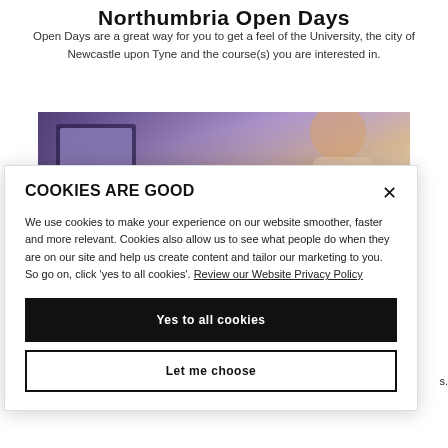Northumbria Open Days
Open Days are a great way for you to get a feel of the University, the city of Newcastle upon Tyne and the course(s) you are interested in.
[Figure (photo): A person working on a laptop, partially visible, with a purple/lavender toned background]
COOKIES ARE GOOD
We use cookies to make your experience on our website smoother, faster and more relevant. Cookies also allow us to see what people do when they are on our site and help us create content and tailor our marketing to you. So go on, click 'yes to all cookies'. Review our Website Privacy Policy